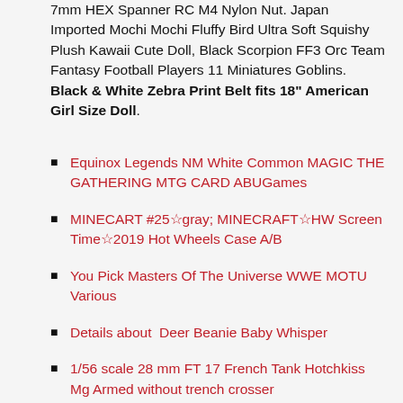7mm HEX Spanner RC M4 Nylon Nut. Japan Imported Mochi Mochi Fluffy Bird Ultra Soft Squishy Plush Kawaii Cute Doll, Black Scorpion FF3 Orc Team Fantasy Football Players 11 Miniatures Goblins. Black & White Zebra Print Belt fits 18" American Girl Size Doll.
Equinox Legends NM White Common MAGIC THE GATHERING MTG CARD ABUGames
MINECART #25☆gray; MINECRAFT☆HW Screen Time☆2019 Hot Wheels Case A/B
You Pick Masters Of The Universe WWE MOTU Various
Details about  Deer Beanie Baby Whisper
1/56 scale 28 mm FT 17 French Tank Hotchkiss Mg Armed without trench crosser
Details about  NEW! HO SCALE WALTHERS